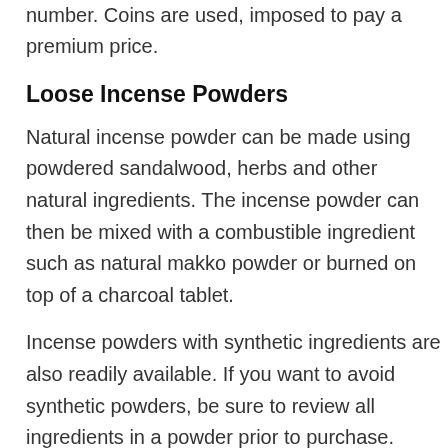number. Coins are used, imposed to pay a premium price.
Loose Incense Powders
Natural incense powder can be made using powdered sandalwood, herbs and other natural ingredients. The incense powder can then be mixed with a combustible ingredient such as natural makko powder or burned on top of a charcoal tablet.
Incense powders with synthetic ingredients are also readily available. If you want to avoid synthetic powders, be sure to review all ingredients in a powder prior to purchase.
Re...